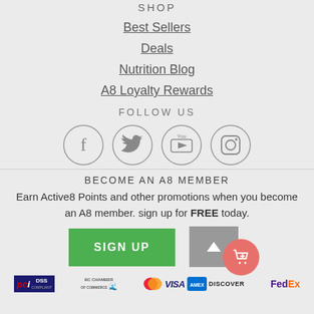SHOP
Best Sellers
Deals
Nutrition Blog
A8 Loyalty Rewards
FOLLOW US
[Figure (infographic): Four social media icons in circles: Facebook, Twitter, YouTube, Instagram]
BECOME AN A8 MEMBER
Earn Active8 Points and other promotions when you become an A8 member. sign up for FREE today.
[Figure (infographic): Green SIGN UP button and scroll-to-top button with shopping cart bubble]
[Figure (infographic): Footer logos: PCI DSS, BC Chamber, Mastercard, Visa, American Express, Discover, FedEx]